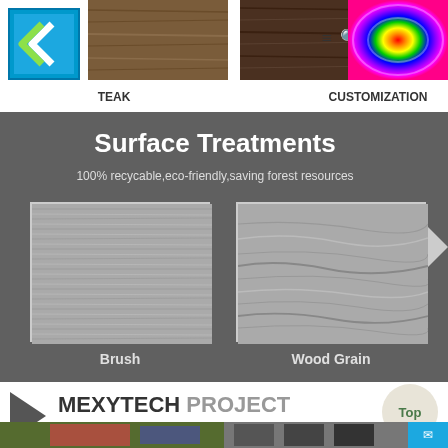[Figure (screenshot): Website header navigation bar with logo, teak wood swatch, walnut wood swatch, hamburger menu icon, search icon, language button, and colorful swirl customization image. Labels: TEAK, WALNUT, CUSTOMIZATION]
[Figure (screenshot): Surface Treatments section on dark gray background with two material swatches: Brush (fine horizontal lines texture) and Wood Grain (natural wood grain texture). Title: Surface Treatments. Subtitle: 100% recycable,eco-friendly,saving forest resources]
[Figure (screenshot): MEXYTECH PROJECT section on white background with play button triangle icon, heading text, subtitle text, and project images at the bottom. Also shows Top button circle and mail icon.]